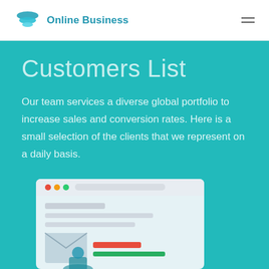Online Business
Customers List
Our team services a diverse global portfolio to increase sales and conversion rates. Here is a small selection of the clients that we represent on a daily basis.
[Figure (illustration): Flat-style illustration showing a browser/webpage mockup with an envelope icon and orange/red elements on the left, and a glowing light bulb on the right, both on a teal background.]